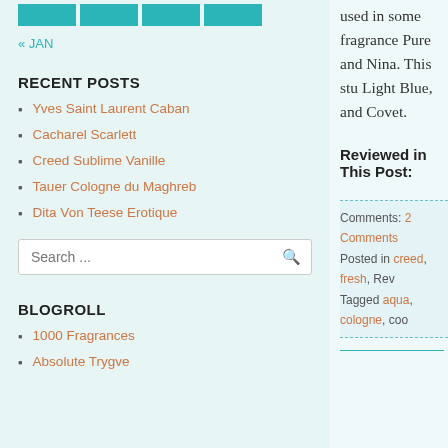[Figure (other): Four teal/cyan colored rectangular blocks in a row at the top of the left sidebar]
« JAN
RECENT POSTS
Yves Saint Laurent Caban
Cacharel Scarlett
Creed Sublime Vanille
Tauer Cologne du Maghreb
Dita Von Teese Erotique
Search ...
BLOGROLL
1000 Fragrances
Absolute Trygve
used in some fragrance Pure and Nina. This stu Light Blue, and Covet.
Reviewed in This Post:
Comments: 2 Comments
Posted in creed, fresh, Rev
Tagged aqua, cologne, coo